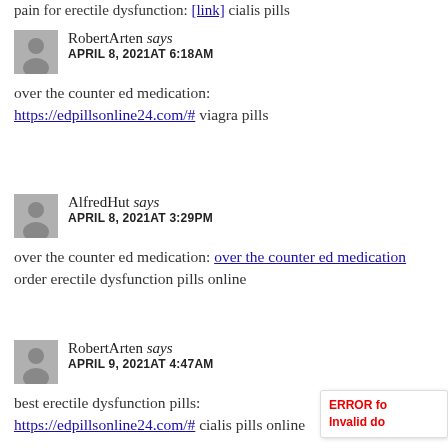pain for erectile dysfunction: [link] cialis pills
RobertArten says
APRIL 8, 2021AT 6:18AM
over the counter ed medication:
https://edpillsonline24.com/# viagra pills
AlfredHut says
APRIL 8, 2021AT 3:29PM
over the counter ed medication: over the counter ed medication order erectile dysfunction pills online
RobertArten says
APRIL 9, 2021AT 4:47AM
best erectile dysfunction pills:
https://edpillsonline24.com/# cialis pills online
ERROR for
Invalid do